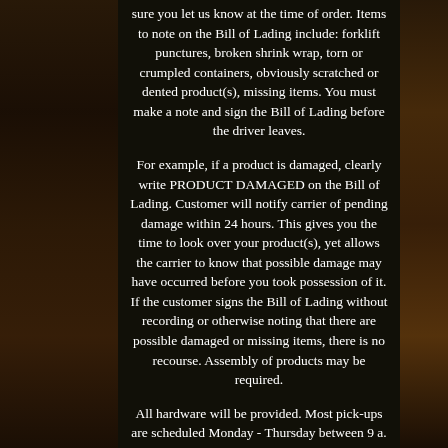sure you let us know at the time of order. Items to note on the Bill of Lading include: forklift punctures, broken shrink wrap, torn or crumpled containers, obviously scratched or dented product(s), missing items. You must make a note and sign the Bill of Lading before the driver leaves.
For example, if a product is damaged, clearly write PRODUCT DAMAGED on the Bill of Lading. Customer will notify carrier of pending damage within 24 hours. This gives you the time to look over your product(s), yet allows the carrier to know that possible damage may have occurred before you took possession of it. If the customer signs the Bill of Lading without recording or otherwise noting that there are possible damaged or missing items, there is no recourse. Assembly of products may be required.
All hardware will be provided. Most pick-ups are scheduled Monday - Thursday between 9 a. You